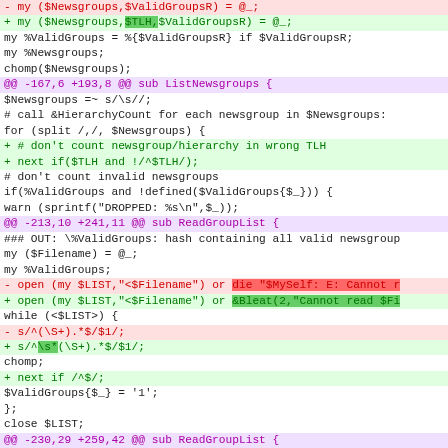[Figure (screenshot): A unified diff / code patch view showing Perl code changes. Lines prefixed with '-' are shown in red on pink background (deletions), lines prefixed with '+' are shown in green on light green background (additions), hunk headers '@@ ... @@' are shown in purple on lavender background, and context lines are shown in black on white.]